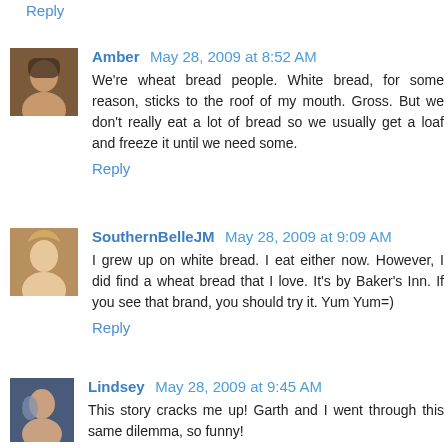Reply
Amber  May 28, 2009 at 8:52 AM
We're wheat bread people. White bread, for some reason, sticks to the roof of my mouth. Gross. But we don't really eat a lot of bread so we usually get a loaf and freeze it until we need some.
Reply
SouthernBelleJM  May 28, 2009 at 9:09 AM
I grew up on white bread. I eat either now. However, I did find a wheat bread that I love. It's by Baker's Inn. If you see that brand, you should try it. Yum Yum=)
Reply
Lindsey  May 28, 2009 at 9:45 AM
This story cracks me up! Garth and I went through this same dilemma, so funny!